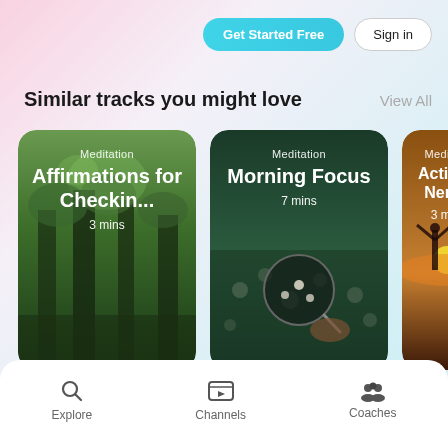Get Started Free
Sign in
Similar tracks you might love
View All
[Figure (screenshot): Meditation card: Affirmations for Checkin... 3 mins, forest background]
[Figure (screenshot): Meditation card: Morning Focus 7 mins, nature/flower background]
[Figure (screenshot): Meditation card: Activa... Nerv... 3 mi, sunset silhouette background (partially cropped)]
Explore
Channels
Coaches